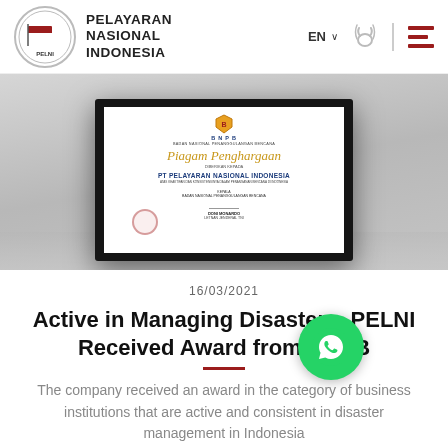PELAYARAN NASIONAL INDONESIA
[Figure (photo): Framed certificate from BNPB (Badan Nasional Penanggulangan Bencana) awarded to PT Pelayaran Nasional Indonesia, displayed in a black frame on a gray surface.]
16/03/2021
Active in Managing Disasters, PELNI Received Award from BNPB
The company received an award in the category of business institutions that are active and consistent in disaster management in Indonesia